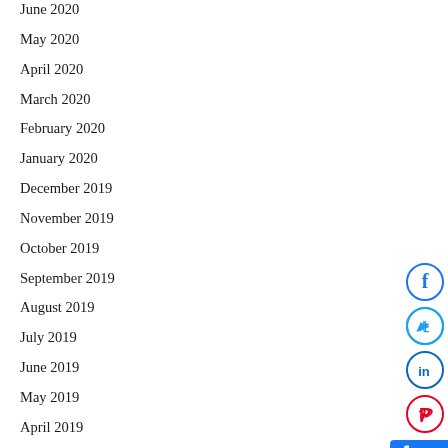June 2020
May 2020
April 2020
March 2020
February 2020
January 2020
December 2019
November 2019
October 2019
September 2019
August 2019
July 2019
June 2019
May 2019
April 2019
March 2019
January 2019
[Figure (infographic): Social sharing buttons: Facebook (circle, blue border), Twitter (circle, blue border), LinkedIn (circle, blue border), Pinterest (circle, red border), Facebook Like button (blue, shows count 4), Next arrow button (gray circle)]